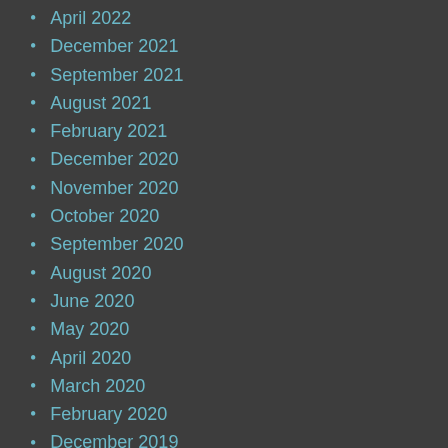April 2022
December 2021
September 2021
August 2021
February 2021
December 2020
November 2020
October 2020
September 2020
August 2020
June 2020
May 2020
April 2020
March 2020
February 2020
December 2019
November 2019
October 2019
September 2019